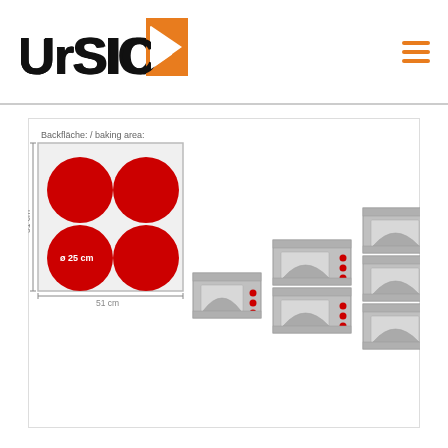URSICA logo and navigation
[Figure (schematic): Baking area diagram showing 51cm x 51cm area with 4 red circles (pizza, ø 25cm each), plus three oven configurations shown as front-view silhouettes: single deck, double deck, triple deck ovens with red indicator dots]